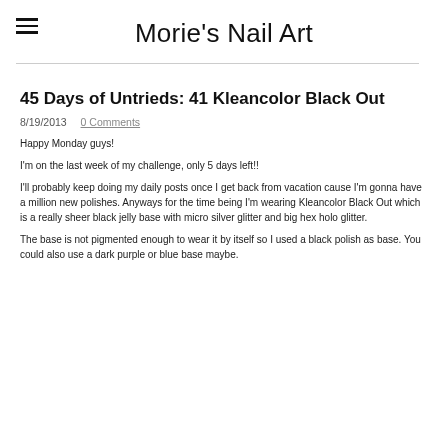Morie's Nail Art
45 Days of Untrieds: 41 Kleancolor Black Out
8/19/2013   0 Comments
Happy Monday guys!
I'm on the last week of my challenge, only 5 days left!!
I'll probably keep doing my daily posts once I get back from vacation cause I'm gonna have a million new polishes. Anyways for the time being I'm wearing Kleancolor Black Out which is a really sheer black jelly base with micro silver glitter and big hex holo glitter.
The base is not pigmented enough to wear it by itself so I used a black polish as base. You could also use a dark purple or blue base maybe.